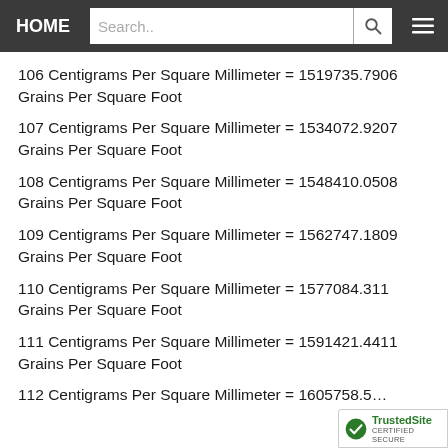HOME | Search..
106 Centigrams Per Square Millimeter = 1519735.7906 Grains Per Square Foot
107 Centigrams Per Square Millimeter = 1534072.9207 Grains Per Square Foot
108 Centigrams Per Square Millimeter = 1548410.0508 Grains Per Square Foot
109 Centigrams Per Square Millimeter = 1562747.1809 Grains Per Square Foot
110 Centigrams Per Square Millimeter = 1577084.311 Grains Per Square Foot
111 Centigrams Per Square Millimeter = 1591421.4411 Grains Per Square Foot
112 Centigrams Per Square Millimeter = 1605758.5...